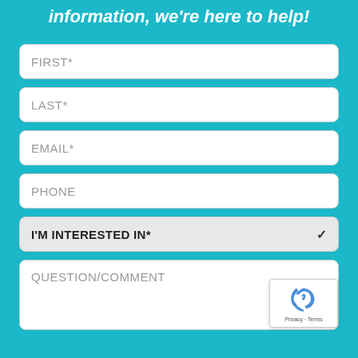information, we're here to help!
FIRST*
LAST*
EMAIL*
PHONE
I'M INTERESTED IN*
QUESTION/COMMENT